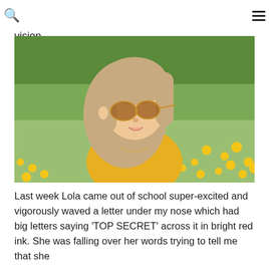me, that is all that's required.  Certainly no need for any vision.
[Figure (photo): Young girl with long blonde hair wearing heart-shaped sunglasses and a yellow floral dress, sitting in a field of dandelions and green grass, looking to the side.]
Last week Lola came out of school super-excited and vigorously waved a letter under my nose which had big letters saying ‘TOP SECRET’ across it in bright red ink. She was falling over her words trying to tell me that she